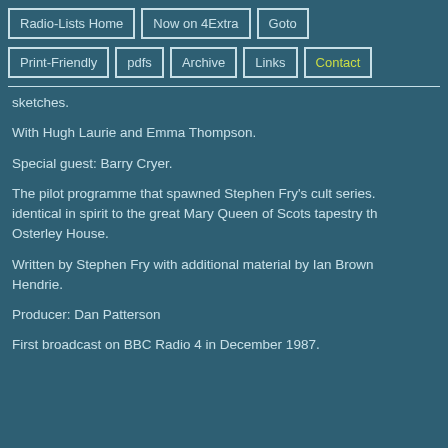Radio-Lists Home
Now on 4Extra
Goto
Print-Friendly
pdfs
Archive
Links
Contact
sketches.
With Hugh Laurie and Emma Thompson.
Special guest: Barry Cryer.
The pilot programme that spawned Stephen Fry's cult series. identical in spirit to the great Mary Queen of Scots tapestry th Osterley House.
Written by Stephen Fry with additional material by Ian Brown Hendrie.
Producer: Dan Patterson
First broadcast on BBC Radio 4 in December 1987.